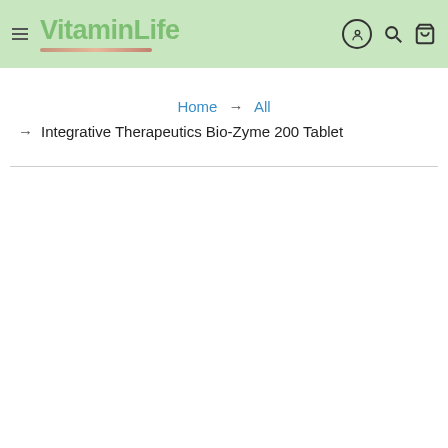VitaminLife
Home → All → Integrative Therapeutics Bio-Zyme 200 Tablet